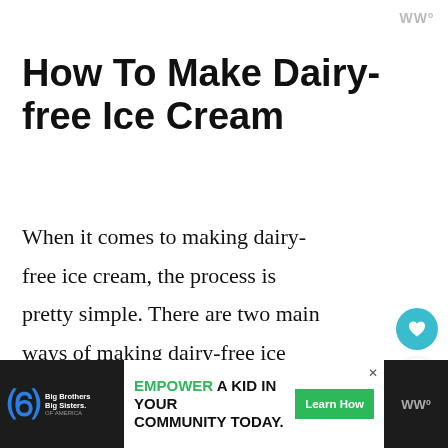WWº
How To Make Dairy-free Ice Cream
When it comes to making dairy-free ice cream, the process is pretty simple. There are two main ways of making dairy-free ice cream: using an ice cream maker or blending up the ingredients, then freezing fo…
[Figure (screenshot): WHAT'S NEXT panel showing '25 Gluten and Dairy-free...' with thumbnail image]
[Figure (infographic): Advertisement bar: Big Brothers Big Sisters logo, 'EMPOWER A KID IN YOUR COMMUNITY TODAY.' with green Learn How button, WWº logo on right]